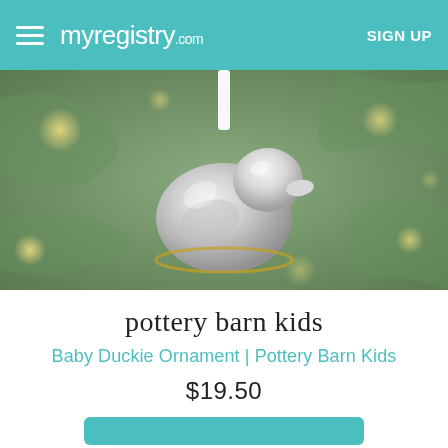myregistry.com  SIGN UP
[Figure (photo): Silver rubber duck ornament hanging from white ribbon on a Christmas tree with bokeh lights in the background]
pottery barn kids
Baby Duckie Ornament | Pottery Barn Kids
$19.50